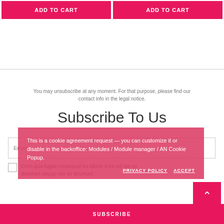ADD TO CART
ADD TO CART
You may unsubscribe at any moment. For that purpose, please find our contact info in the legal notice.
Subscribe To Us
Email...
Enim quis fugiat consequat eu labore irure ad nisi ex deserunt aliquip nisi ex deserunt.
This is a cookie agreement request — you can customize it or disable in the backoffice: Modules / Module manager / AN Cookie Popup.
PRIVACY POLICY
ACCEPT
SUBSCRIBE